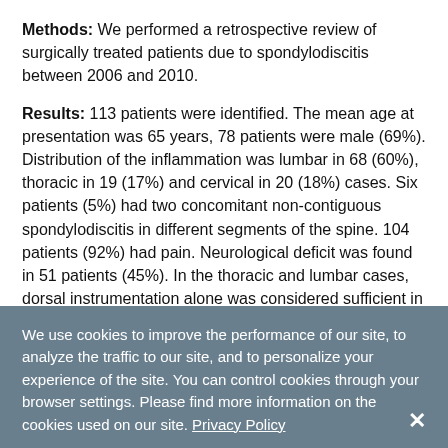Methods: We performed a retrospective review of surgically treated patients due to spondylodiscitis between 2006 and 2010.
Results: 113 patients were identified. The mean age at presentation was 65 years, 78 patients were male (69%). Distribution of the inflammation was lumbar in 68 (60%), thoracic in 19 (17%) and cervical in 20 (18%) cases. Six patients (5%) had two concomitant non-contiguous spondylodiscitis in different segments of the spine. 104 patients (92%) had pain. Neurological deficit was found in 51 patients (45%). In the thoracic and lumbar cases, dorsal instrumentation alone was considered sufficient in 26 cases,
We use cookies to improve the performance of our site, to analyze the traffic to our site, and to personalize your experience of the site. You can control cookies through your browser settings. Please find more information on the cookies used on our site. Privacy Policy